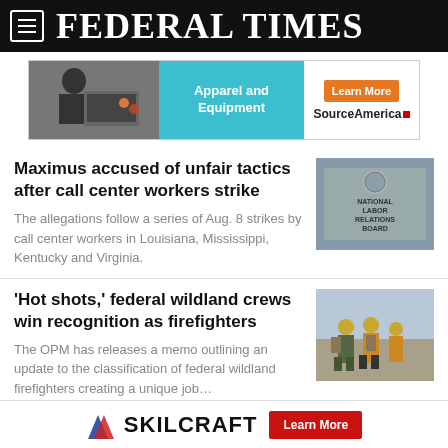FEDERAL TIMES
[Figure (photo): Advertisement banner for SourceAmerica featuring Apparel and Equipment with a Learn More button]
Maximus accused of unfair tactics after call center workers strike
The allegations follow a series of Aug. 8 strikes by call center workers in Louisiana, Mississippi, Kentucky and Virginia.
[Figure (photo): Photo of National Labor Relations Board sign]
‘Hot shots,’ federal wildland crews win recognition as firefighters
The OPM has releases a memo outlining an update to the classification of federal wildland firefighters creating a unique job…
[Figure (photo): Photo of wildland firefighters walking]
[Figure (logo): SKILCRAFT advertisement with Learn More button]